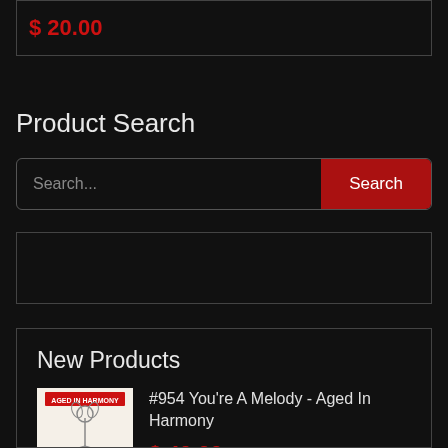$ 20.00
Product Search
Search...
Search
New Products
#954 You're A Melody - Aged In Harmony
$ 40.00